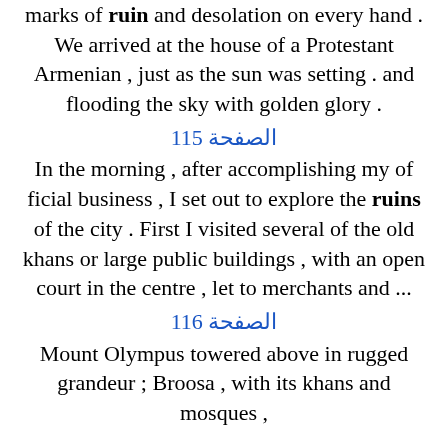marks of ruin and desolation on every hand . We arrived at the house of a Protestant Armenian , just as the sun was setting . and flooding the sky with golden glory .
الصفحة 115
In the morning , after accomplishing my of ficial business , I set out to explore the ruins of the city . First I visited several of the old khans or large public buildings , with an open court in the centre , let to merchants and ...
الصفحة 116
Mount Olympus towered above in rugged grandeur ; Broosa , with its khans and mosques ,